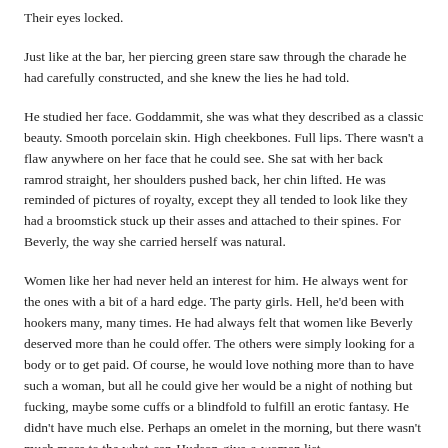Their eyes locked.
Just like at the bar, her piercing green stare saw through the charade he had carefully constructed, and she knew the lies he had told.
He studied her face. Goddammit, she was what they described as a classic beauty. Smooth porcelain skin. High cheekbones. Full lips. There wasn't a flaw anywhere on her face that he could see. She sat with her back ramrod straight, her shoulders pushed back, her chin lifted. He was reminded of pictures of royalty, except they all tended to look like they had a broomstick stuck up their asses and attached to their spines. For Beverly, the way she carried herself was natural.
Women like her had never held an interest for him. He always went for the ones with a bit of a hard edge. The party girls. Hell, he'd been with hookers many, many times. He had always felt that women like Beverly deserved more than he could offer. The others were simply looking for a body or to get paid. Of course, he would love nothing more than to have such a woman, but all he could give her would be a night of nothing but fucking, maybe some cuffs or a blindfold to fulfill an erotic fantasy. He didn't have much else. Perhaps an omelet in the morning, but there wasn't much more to the what-can-Hudson-give-a-woman list.